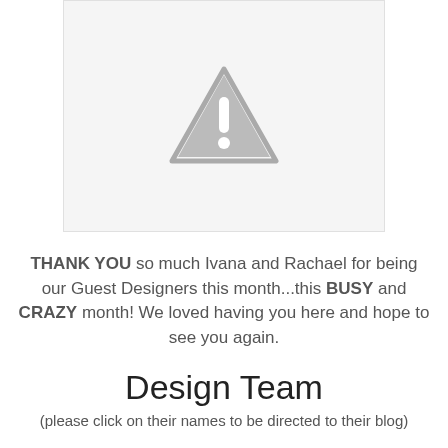[Figure (other): Image placeholder with a grey warning triangle/exclamation mark icon on a light grey background]
THANK YOU so much Ivana and Rachael for being our Guest Designers this month...this BUSY and CRAZY month! We loved having you here and hope to see you again.
Design Team
(please click on their names to be directed to their blog)